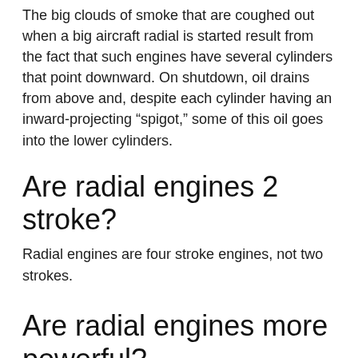The big clouds of smoke that are coughed out when a big aircraft radial is started result from the fact that such engines have several cylinders that point downward. On shutdown, oil drains from above and, despite each cylinder having an inward-projecting “spigot,” some of this oil goes into the lower cylinders.
Are radial engines 2 stroke?
Radial engines are four stroke engines, not two strokes.
Are radial engines more powerful?
According the BEI, conventional internal